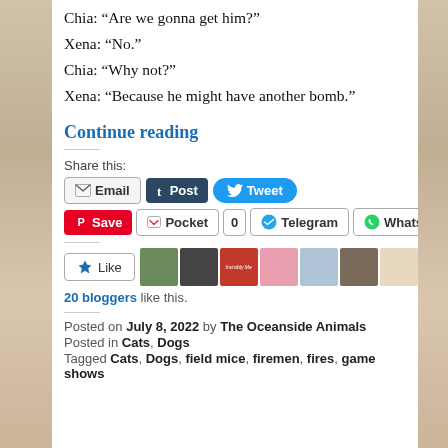Chia: “Are we gonna get him?”
Xena: “No.”
Chia: “Why not?”
Xena: “Because he might have another bomb.”
Continue reading
Share this:
Email | Post | Tweet | Save | Pocket | 0 | Telegram | WhatsApp
Like | [avatar images] 20 bloggers like this.
Posted on July 8, 2022 by The Oceanside Animals
Posted in Cats, Dogs
Tagged Cats, Dogs, field mice, firemen, fires, game shows